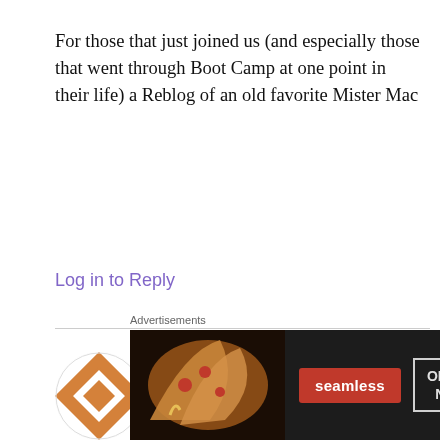For those that just joined us (and especially those that went through Boot Camp at one point in their life) a Reblog of an old favorite Mister Mac
Log in to Reply
[Figure (illustration): Avatar icon with orange/white checkered pattern in a circle for user RANDY]
RANDY
February 17, 2014 at 16:47
I had the pleasure of entering during the
Advertisements
[Figure (screenshot): Seamless food delivery advertisement banner showing pizza slices on dark background with Seamless logo and ORDER NOW button]